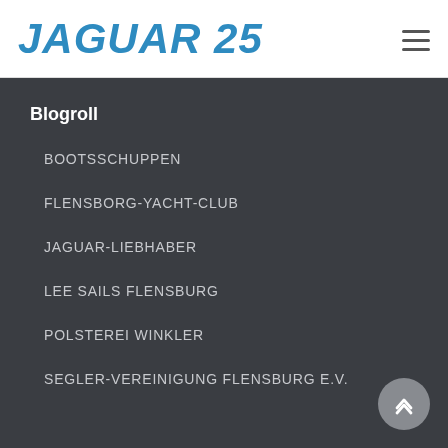JAGUAR 25
Blogroll
BOOTSSCHUPPEN
FLENSBORG-YACHT-CLUB
JAGUAR-LIEBHABER
LEE SAILS FLENSBURG
POLSTEREI WINKLER
SEGLER-VEREINIGUNG FLENSBURG E.V.